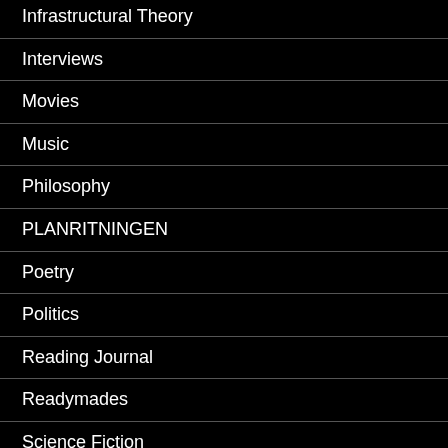Infrastructural Theory
Interviews
Movies
Music
Philosophy
PLANRITNINGEN
Poetry
Politics
Reading Journal
Readymades
Science Fiction
Social Theory
Sociology